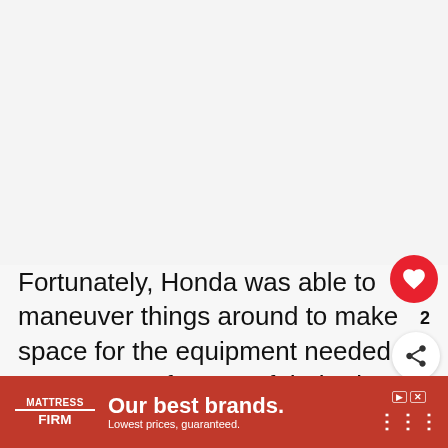[Figure (other): Large blank/white area at the top of the page, representing an image placeholder or image content area]
Fortunately, Honda was able to maneuver things around to make space for the equipment needed for power seats for one of their trim levels in the HR-V. The Touring trim level has powered seats as a standard feature. They are eight-way adjustable se…
[Figure (other): Red circular heart/like button with count of 2 and a share button below it]
[Figure (other): What's Next card showing a Honda HR-V thumbnail with label 'Does The Honda HR-V…']
[Figure (other): Mattress Firm advertisement banner at the bottom: 'Our best brands. Lowest prices, guaranteed.']